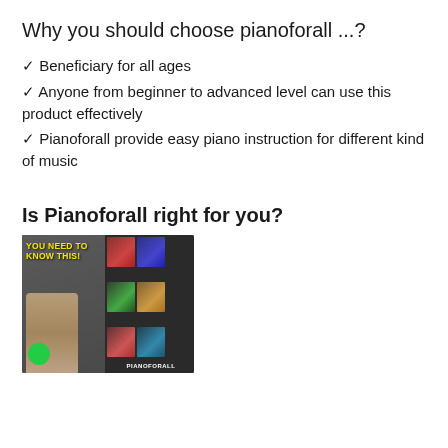Why you should choose pianoforall ...?
✓ Beneficiary for all ages
✓ Anyone from beginner to advanced level can use this product effectively
✓ Pianoforall provide easy piano instruction for different kind of music
Is Pianoforall right for you?
[Figure (photo): Thumbnail image of a man with text 'YOU NEED TO KNOW THIS!' in yellow, showing Pianoforall book collection on the right side]